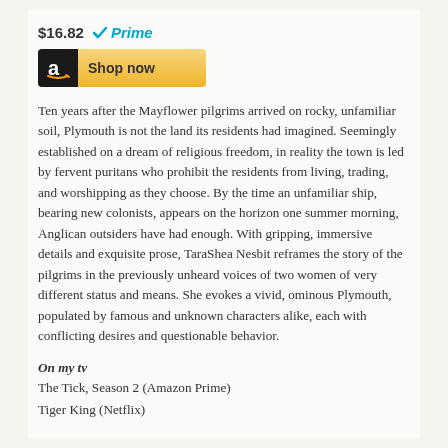$16.82  ✓Prime
[Figure (other): Amazon Shop now button with black Amazon logo icon on left and gold background]
Ten years after the Mayflower pilgrims arrived on rocky, unfamiliar soil, Plymouth is not the land its residents had imagined. Seemingly established on a dream of religious freedom, in reality the town is led by fervent puritans who prohibit the residents from living, trading, and worshipping as they choose. By the time an unfamiliar ship, bearing new colonists, appears on the horizon one summer morning, Anglican outsiders have had enough. With gripping, immersive details and exquisite prose, TaraShea Nesbit reframes the story of the pilgrims in the previously unheard voices of two women of very different status and means. She evokes a vivid, ominous Plymouth, populated by famous and unknown characters alike, each with conflicting desires and questionable behavior.
On my tv
The Tick, Season 2 (Amazon Prime)
Tiger King (Netflix)